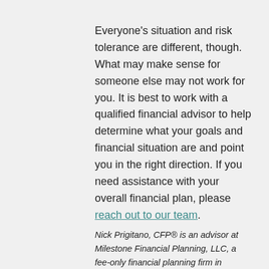Everyone's situation and risk tolerance are different, though. What may make sense for someone else may not work for you. It is best to work with a qualified financial advisor to help determine what your goals and financial situation are and point you in the right direction. If you need assistance with your overall financial plan, please reach out to our team.
Nick Prigitano, CFP® is an advisor at Milestone Financial Planning, LLC, a fee-only financial planning firm in Bedford NH. Milestone works with